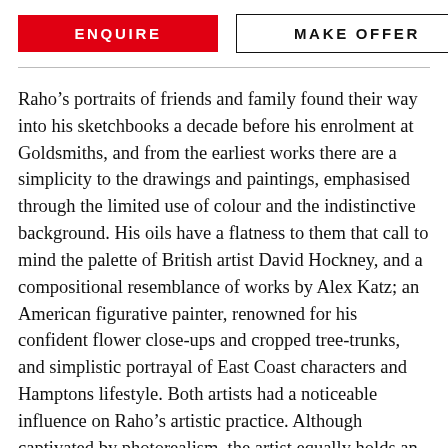ENQUIRE
MAKE OFFER
Raho’s portraits of friends and family found their way into his sketchbooks a decade before his enrolment at Goldsmiths, and from the earliest works there are a simplicity to the drawings and paintings, emphasised through the limited use of colour and the indistinctive background. His oils have a flatness to them that call to mind the palette of British artist David Hockney, and a compositional resemblance of works by Alex Katz; an American figurative painter, renowned for his confident flower close-ups and cropped tree-trunks, and simplistic portrayal of East Coast characters and Hamptons lifestyle. Both artists had a noticeable influence on Raho’s artistic practice. Although captivated by photorealism, the artist equally holds an awareness of the techniques of traditional portraiture